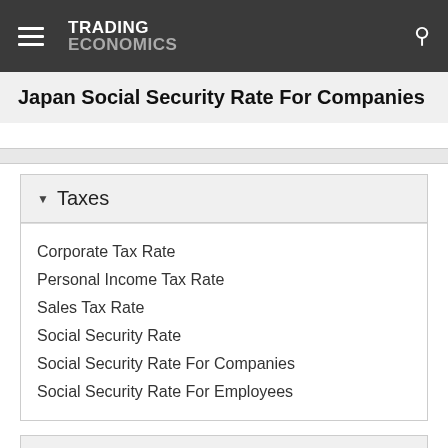TRADING ECONOMICS
Japan Social Security Rate For Companies
Taxes
Corporate Tax Rate
Personal Income Tax Rate
Sales Tax Rate
Social Security Rate
Social Security Rate For Companies
Social Security Rate For Employees
Climate
More Indicators
National Statistics